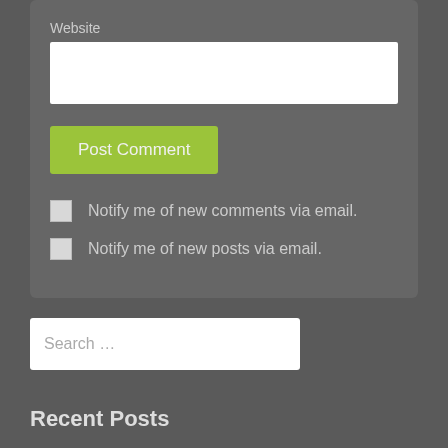Website
Post Comment
Notify me of new comments via email.
Notify me of new posts via email.
Search …
Recent Posts